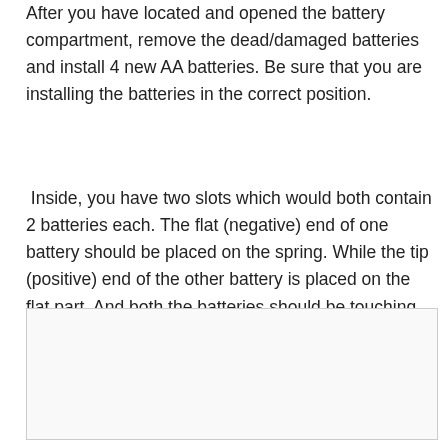After you have located and opened the battery compartment, remove the dead/damaged batteries and install 4 new AA batteries. Be sure that you are installing the batteries in the correct position.
Inside, you have two slots which would both contain 2 batteries each. The flat (negative) end of one battery should be placed on the spring. While the tip (positive) end of the other battery is placed on the flat part. And both the batteries should be touching.
[Figure (photo): Image placeholder showing battery placement diagram]